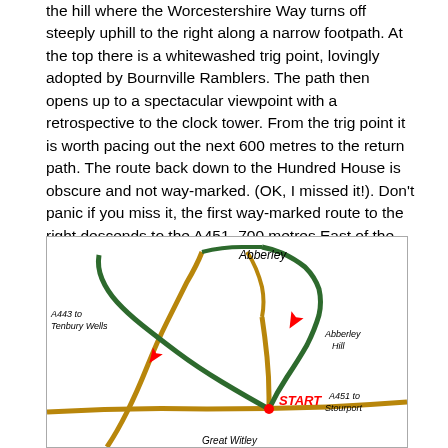the hill where the Worcestershire Way turns off steeply uphill to the right along a narrow footpath. At the top there is a whitewashed trig point, lovingly adopted by Bournville Ramblers. The path then opens up to a spectacular viewpoint with a retrospective to the clock tower. From the trig point it is worth pacing out the next 600 metres to the return path. The route back down to the Hundred House is obscure and not way-marked. (OK, I missed it!). Don't panic if you miss it, the first way-marked route to the right descends to the A451, 700 metres East of the Hundred House.
[Figure (map): Hand-drawn style map showing roads and routes around Abberley Hill. Features green routes (walking paths), dark yellow/brown roads, red arrows indicating directions, a red dot marking START near Great Witley. Labels include: Abberley (top centre), A443 to Tenbury Wells (left), Abberley Hill (right), A451 to Stourport (bottom right), START (red, centre-right), Great Witley (bottom centre, partially cut off).]